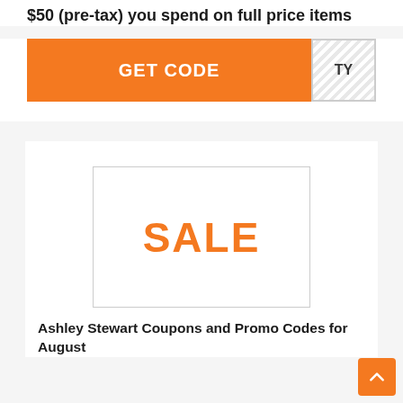$50 (pre-tax) you spend on full price items
[Figure (screenshot): Orange GET CODE button with hatched code reveal area on the right side]
[Figure (illustration): White card with SALE text in orange bold letters inside a bordered box]
Ashley Stewart Coupons and Promo Codes for August